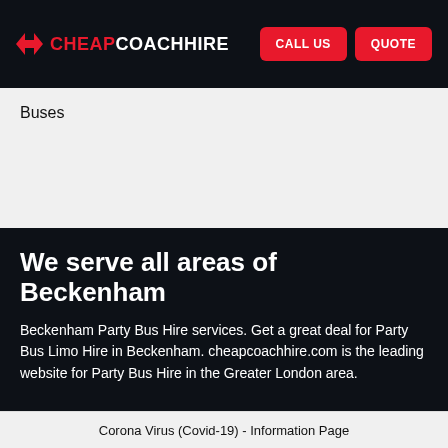CHEAP COACH HIRE   CALL US   QUOTE
Buses
We serve all areas of Beckenham
Beckenham Party Bus Hire services. Get a great deal for Party Bus Limo Hire in Beckenham. cheapcoachhire.com is the leading website for Party Bus Hire in the Greater London area.
Corona Virus (Covid-19) - Information Page